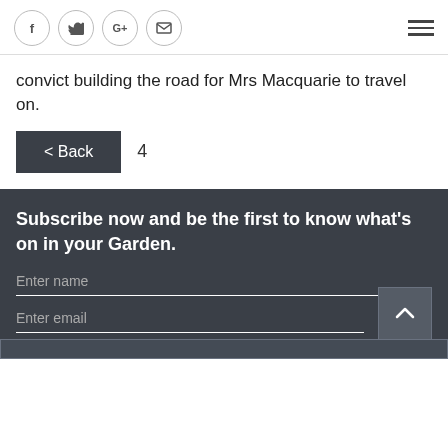Social icons: facebook, twitter, google+, email; hamburger menu
convict building the road for Mrs Macquarie to travel on.
< Back   4
Subscribe now and be the first to know what's on in your Garden.
Enter name
Enter email